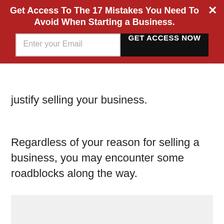[Figure (other): Red promotional banner overlay with headline 'Get Access To The 17 Mistakes You Need To Avoid When Starting a Business.', an email input field, a black 'GET ACCESS NOW' button, and a white X close button.]
justify selling your business.
Regardless of your reason for selling a business, you may encounter some roadblocks along the way.